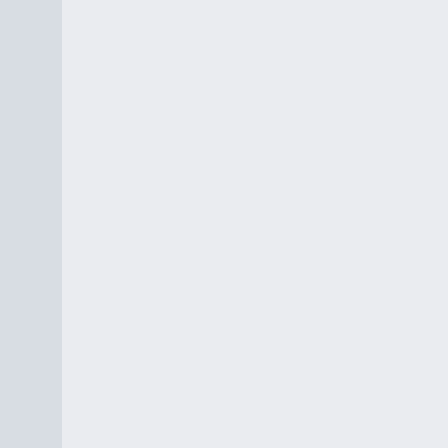cloudarion.com EU server hosting solutions? Uptime, features, bonuses? Is it the hosting provider I can rely on?